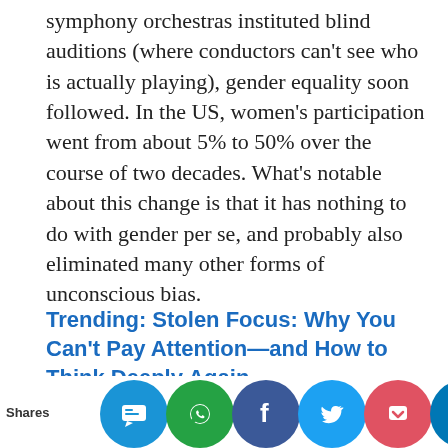symphony orchestras instituted blind auditions (where conductors can't see who is actually playing), gender equality soon followed. In the US, women's participation went from about 5% to 50% over the course of two decades. What's notable about this change is that it has nothing to do with gender per se, and probably also eliminated many other forms of unconscious bias.
Trending: Stolen Focus: Why You Can't Pay Attention—and How to Think Deeply Again
Now, whenever I screen resumes, I ask the [hiring committee] to blur out the name, gen[der, and pho...]
Shares [social icons: SMS, WhatsApp, Facebook, Twitter, Pocket, LinkedIn]